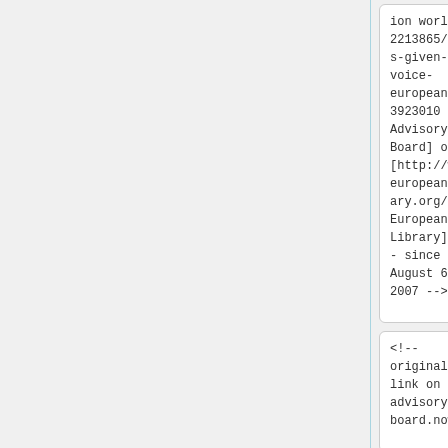| ion world-review/news/2213865/users-given-voice-european-3923010 Advisory Board] of [http://www.europeanlibrary.org/ The European Library] <!-- since August 6, 2007 --> | ion world-review/news/2213865/users-given-voice-european-3923010 Advisory Board] of [http://www.europeanlibrary.org/ The European Library] <!-- since August 6, 2007 --> |
| <!-- original link on advisory board.now | <!-- original link on advisory board.now |